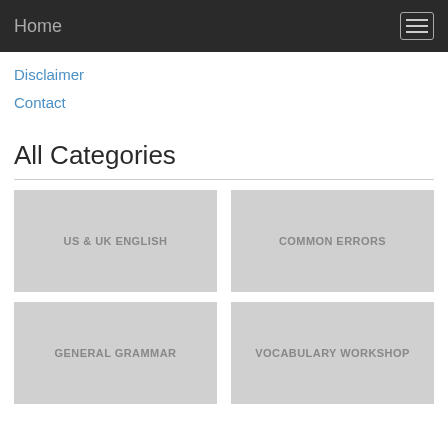Home
Disclaimer
Contact
All Categories
[Figure (other): Category tile: US & UK ENGLISH]
[Figure (other): Category tile: COMMON ERRORS]
[Figure (other): Category tile: GENERAL GRAMMAR]
[Figure (other): Category tile: VOCABULARY WORKSHOP]